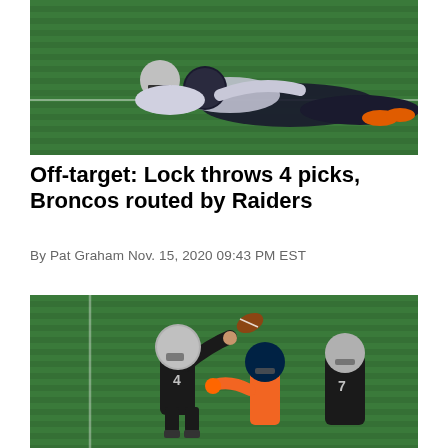[Figure (photo): Football player on green field, one player tackled or sliding on the ground, two players in dark and light uniforms, orange cleats visible, green turf background]
Off-target: Lock throws 4 picks, Broncos routed by Raiders
By Pat Graham Nov. 15, 2020 09:43 PM EST
[Figure (photo): Raiders quarterback number 4 throwing a pass on green turf field, Broncos defender in orange gloves rushing, Raiders offensive lineman blocking, football visible in the air]